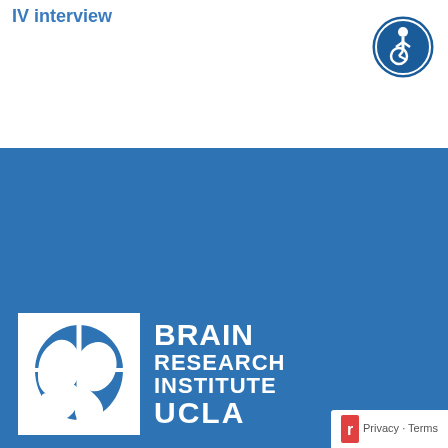IV interview
[Figure (logo): Accessibility icon - wheelchair user in circle with dark blue border]
[Figure (logo): Brain Research Institute UCLA logo - white square with stylized brain graphic and text BRAIN RESEARCH INSTITUTE UCLA]
Links
Research Resources
Giving
Leadership & Staff Directory